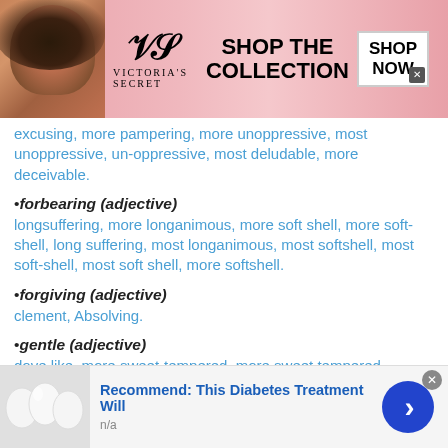[Figure (screenshot): Victoria's Secret advertisement banner with pink background, model photo, VS logo, 'SHOP THE COLLECTION' text, and 'SHOP NOW' button]
excusing, more pampering, more unoppressive, most unoppressive, un-oppressive, most deludable, more deceivable.
•forbearing (adjective)
longsuffering, more longanimous, more soft shell, more soft-shell, long suffering, most longanimous, most softshell, most soft-shell, most soft shell, more softshell.
•forgiving (adjective)
clement, Absolving.
•gentle (adjective)
dove like, more sweet-tempered, more sweet tempered
[Figure (screenshot): Bottom advertisement: 'Recommend: This Diabetes Treatment Will' with image of white eggs/food items and blue arrow button, n/a subtext]